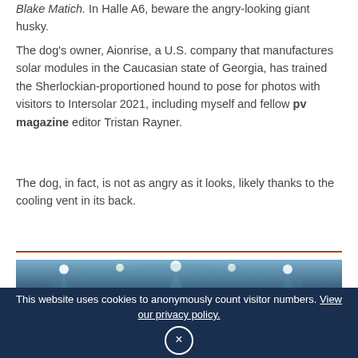Blake Matich. In Halle A6, beware the angry-looking giant husky.
The dog's owner, Aionrise, a U.S. company that manufactures solar modules in the Caucasian state of Georgia, has trained the Sherlockian-proportioned hound to pose for photos with visitors to Intersolar 2021, including myself and fellow pv magazine editor Tristan Rayner.
The dog, in fact, is not as angry as it looks, likely thanks to the cooling vent in its back.
[Figure (photo): Interior of a large exhibition hall with blue atmospheric lighting and ceiling lights visible]
This website uses cookies to anonymously count visitor numbers. View our privacy policy.